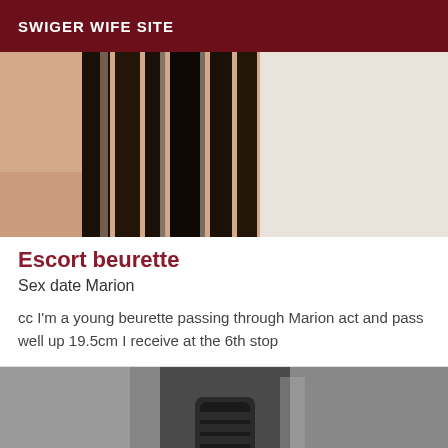SWIGER WIFE SITE
[Figure (photo): Close-up photo of a person with long dark straight hair, wearing a white garment, hair partially draped over shoulder]
Escort beurette
Sex date Marion
cc I'm a young beurette passing through Marion act and pass well up 19.5cm I receive at the 6th stop
[Figure (photo): Black and white partial photo of a person]